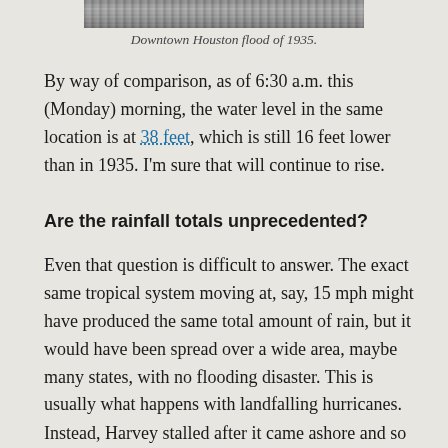[Figure (photo): Partial view of a black and white photograph showing the Downtown Houston flood of 1935, cropped at the top of the page.]
Downtown Houston flood of 1935.
By way of comparison, as of 6:30 a.m. this (Monday) morning, the water level in the same location is at 38 feet, which is still 16 feet lower than in 1935. I'm sure that will continue to rise.
Are the rainfall totals unprecedented?
Even that question is difficult to answer. The exact same tropical system moving at, say, 15 mph might have produced the same total amount of rain, but it would have been spread over a wide area, maybe many states, with no flooding disaster. This is usually what happens with landfalling hurricanes.
Instead, Harvey stalled after it came ashore and so all